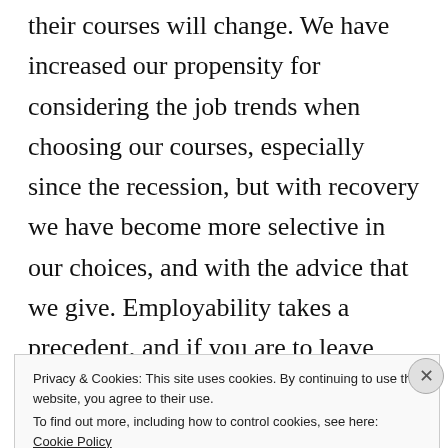their courses will change. We have increased our propensity for considering the job trends when choosing our courses, especially since the recession, but with recovery we have become more selective in our choices, and with the advice that we give. Employability takes a precedent, and if you are to leave university with a significant debt following four years of renting in Dublin, for example, the importance of promptly entering employment will [loom over new graduates]
Privacy & Cookies: This site uses cookies. By continuing to use this website, you agree to their use.
To find out more, including how to control cookies, see here: Cookie Policy

Close and accept